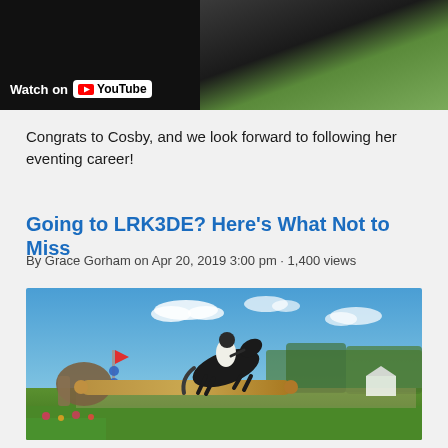[Figure (screenshot): Top section showing a YouTube video thumbnail on the left (dark background with Watch on YouTube label) and a photo on the right showing a person's torso against green grass background]
Congrats to Cosby, and we look forward to following her eventing career!
Going to LRK3DE? Here's What Not to Miss
By Grace Gorham on Apr 20, 2019 3:00 pm · 1,400 views
[Figure (photo): Outdoor equestrian cross-country jump photo showing a horse and rider jumping over a large log obstacle at what appears to be a competition. Blue sky with clouds, green grass, trees and crowd visible in background. A red flag is visible on the left near the jump.]